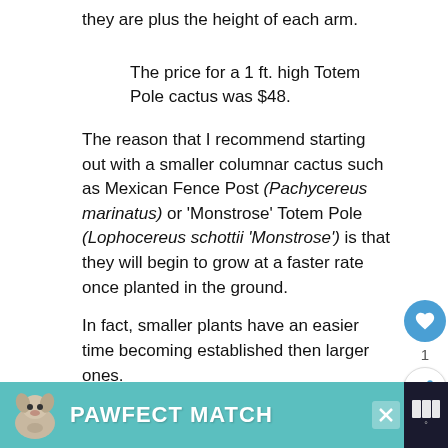they are plus the height of each arm.
The price for a 1 ft. high Totem Pole cactus was $48.
The reason that I recommend starting out with a smaller columnar cactus such as Mexican Fence Post (Pachycereus marinatus) or ‘Monstrose’ Totem Pole (Lophocereus schottii ‘Monstrose’) is that they will begin to grow at a faster rate once planted in the ground.
In fact, smaller plants have an easier time becoming established then larger ones.
Many columnar types of cacti grow faster in the landscape then in the wild due to the presence of
[Figure (other): Advertisement banner for PAWFECT MATCH featuring a dog image on teal background with close button and logo]